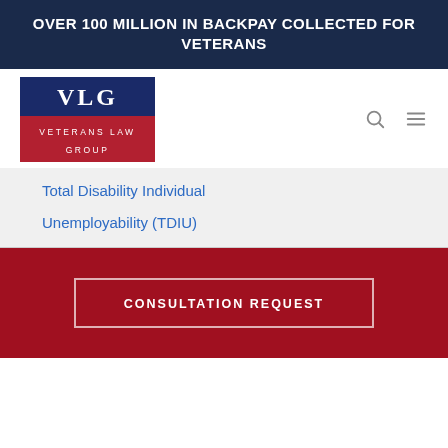OVER 100 MILLION IN BACKPAY COLLECTED FOR VETERANS
[Figure (logo): VLG Veterans Law Group logo — dark blue top section with 'VLG' in white serif font, red bottom section with 'Veterans Law Group' in white uppercase letters]
Total Disability Individual
Unemployability (TDIU)
CONSULTATION REQUEST
THE VETERANS LAW GROUP